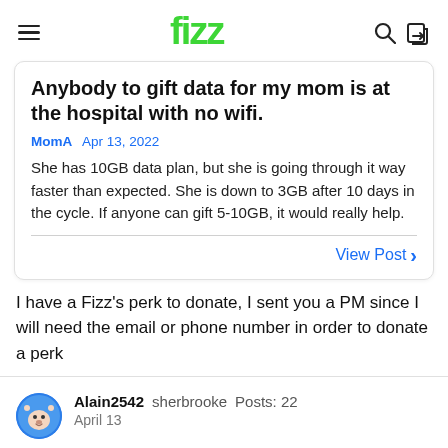fizz
Anybody to gift data for my mom is at the hospital with no wifi.
MomA  Apr 13, 2022
She has 10GB data plan, but she is going through it way faster than expected. She is down to 3GB after 10 days in the cycle. If anyone can gift 5-10GB, it would really help.
View Post
I have a Fizz's perk to donate, I sent you a PM since I will need the email or phone number in order to donate a perk
Alain2542  sherbrooke  Posts: 22
April 13
J'aurais besoin de votre code de référence